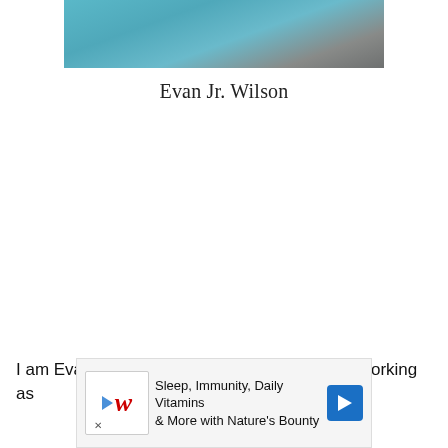[Figure (photo): Partial photo of a person wearing a teal/blue top, cropped at the top of the page showing head/shoulder area]
Evan Jr. Wilson
I am Evan Jr. Wilson, a professional cleaner. Working as
[Figure (infographic): Advertisement banner: Walgreens ad showing 'Sleep, Immunity, Daily Vitamins & More with Nature's Bounty' with Walgreens logo and navigation arrow]